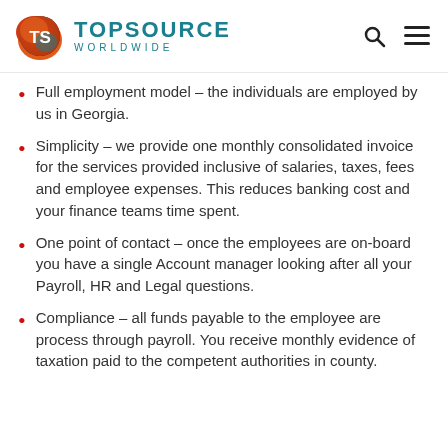TOPSOURCE WORLDWIDE
Full employment model – the individuals are employed by us in Georgia.
Simplicity – we provide one monthly consolidated invoice for the services provided inclusive of salaries, taxes, fees and employee expenses. This reduces banking cost and your finance teams time spent.
One point of contact – once the employees are on-board you have a single Account manager looking after all your Payroll, HR and Legal questions.
Compliance – all funds payable to the employee are process through payroll. You receive monthly evidence of taxation paid to the competent authorities in county.